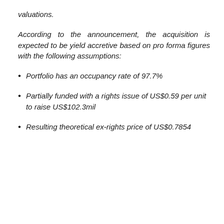valuations.
According to the announcement, the acquisition is expected to be yield accretive based on pro forma figures with the following assumptions:
Portfolio has an occupancy rate of 97.7%
Partially funded with a rights issue of US$0.59 per unit to raise US$102.3mil
Resulting theoretical ex-rights price of US$0.7854